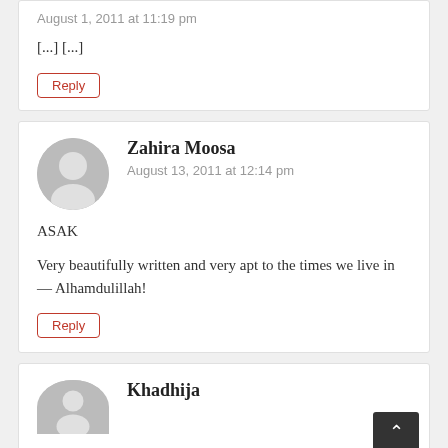August 1, 2011 at 11:19 pm
[...] [...]
Reply
Zahira Moosa
August 13, 2011 at 12:14 pm
ASAK
Very beautifully written and very apt to the times we live in — Alhamdulillah!
Reply
Khadhija
Reply